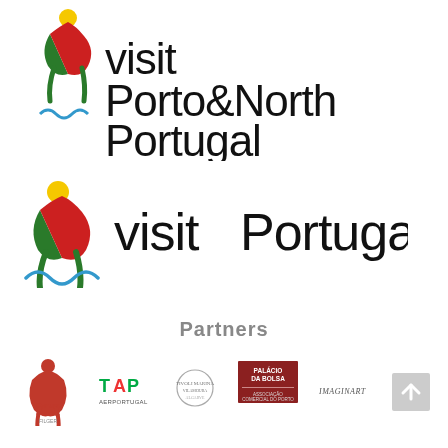[Figure (logo): Visit Porto&North Portugal tourism logo with colorful figure icon and wave, black text]
[Figure (logo): Visit Portugal tourism logo with colorful figure icon and wave, black text]
Partners
[Figure (logo): Row of partner logos: Forum d'Ideias, TAP AerPortugal, (hotel/spa logo), Palácio da Bolsa / Associação Comercial do Porto, Imaginart, and a scroll-up button]